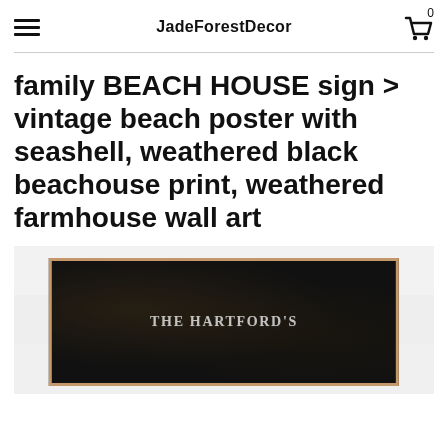JadeForestDecor
family BEACH HOUSE sign > vintage beach poster with seashell, weathered black beachouse print, weathered farmhouse wall art
[Figure (photo): A weathered black chalkboard-style sign with a wooden frame showing 'THE HARTFORD'S' text in distressed white lettering, mounted against a white shiplap/plank background.]